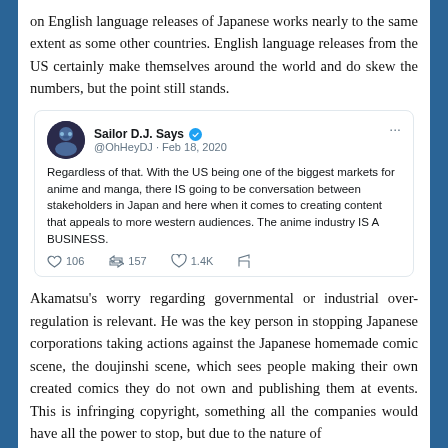on English language releases of Japanese works nearly to the same extent as some other countries. English language releases from the US certainly make themselves around the world and do skew the numbers, but the point still stands.
[Figure (screenshot): Tweet by Sailor D.J. Says (@OhHeyDJ) on Feb 18, 2020: 'Regardless of that. With the US being one of the biggest markets for anime and manga, there IS going to be conversation between stakeholders in Japan and here when it comes to creating content that appeals to more western audiences. The anime industry IS A BUSINESS.' Engagement: 106 replies, 157 retweets, 1.4K likes.]
Akamatsu's worry regarding governmental or industrial over-regulation is relevant. He was the key person in stopping Japanese corporations taking actions against the Japanese homemade comic scene, the doujinshi scene, which sees people making their own created comics they do not own and publishing them at events. This is infringing copyright, something all the companies would have all the power to stop, but due to the nature of